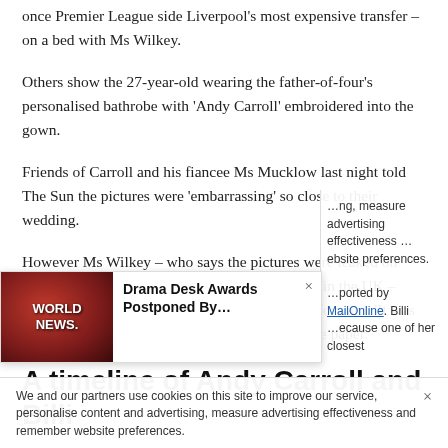once Premier League side Liverpool's most expensive transfer – on a bed with Ms Wilkey.
Others show the 27-year-old wearing the father-of-four's personalised bathrobe with 'Andy Carroll' embroidered into the gown.
Friends of Carroll and his fiancee Ms Mucklow last night told The Sun the pictures were 'embarrassing' so close to their wedding.
However Ms Wilkey – who says the pictures were leaked on Snapchat after she sent them to her friends back in the UK – insists nothing sexual happened with the 6ft4in forward. 'It was all just a bit of entirely innocent fun,' she told the paper.
A timeline of Andy Carroll and Billi
We and our partners use cookies on this site to improve our service, personalise content and advertising, measure advertising effectiveness and remember website preferences.
Drama Desk Awards Postponed By...
reported by MailOnline. Billi because one of her closest